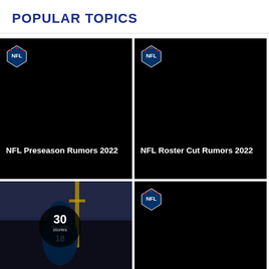POPULAR TOPICS
[Figure (photo): NFL logo badge on black background for NFL Preseason Rumors 2022 topic card]
NFL Preseason Rumors 2022
[Figure (photo): NFL logo badge on black background for NFL Roster Cut Rumors 2022 topic card]
NFL Roster Cut Rumors 2022
[Figure (photo): NFL player Williams #18 in a Seahawks uniform on a football field with a story bubble showing 30 stories]
NFL Injuries
[Figure (photo): NFL logo badge on black background for NFL Training Camp topic card]
NFL Training Camp